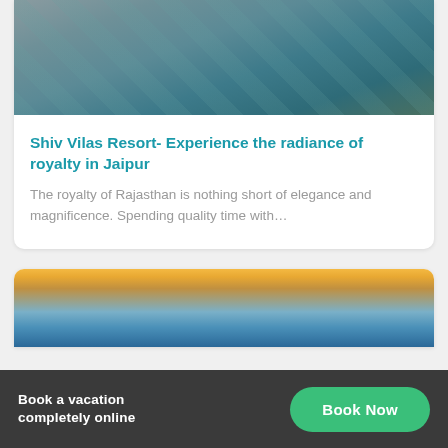[Figure (photo): Top portion of a card showing an ornate architectural interior with a checkered marble floor pattern and decorative stone carvings, partially visible (cropped at top)]
Shiv Vilas Resort- Experience the radiance of royalty in Jaipur
The royalty of Rajasthan is nothing short of elegance and magnificence. Spending quality time with…
[Figure (photo): Top portion of a second card showing a scenic sky with blue hues and warm golden clouds at the horizon, partially visible (cropped at bottom)]
Book a vacation completely online
Book Now